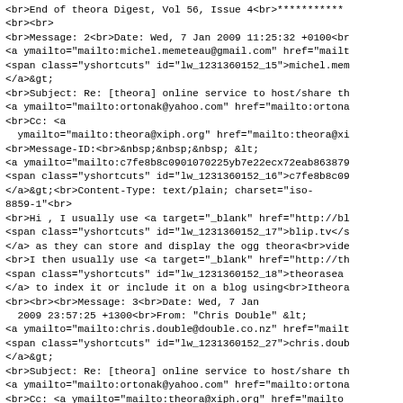<br>End of theora Digest, Vol 56, Issue 4<br>***********
<br><br>
<br>Message: 2<br>Date: Wed, 7 Jan 2009 11:25:32 +0100<br
<a ymailto="mailto:michel.memeteau@gmail.com" href="mailt
<span class="yshortcuts" id="lw_1231360152_15">michel.mem
</a>&gt;
<br>Subject: Re: [theora] online service to host/share th
<a ymailto="mailto:ortonak@yahoo.com" href="mailto:ortona
<br>Cc: <a
 ymailto="mailto:theora@xiph.org" href="mailto:theora@xi
<br>Message-ID:<br>&nbsp;&nbsp;&nbsp; &lt;
<a ymailto="mailto:c7fe8b8c0901070225yb7e22ecx72eab863879
<span class="yshortcuts" id="lw_1231360152_16">c7fe8b8c09
</a>&gt;<br>Content-Type: text/plain; charset="iso-
8859-1"<br>
<br>Hi , I usually use <a target="_blank" href="http://bl
<span class="yshortcuts" id="lw_1231360152_17">blip.tv</s
</a> as they can store and display the ogg theora<br>vide
<br>I then usually use <a target="_blank" href="http://th
<span class="yshortcuts" id="lw_1231360152_18">theorasea
</a> to index it or include it on a blog using<br>Itheora
<br><br><br>Message: 3<br>Date: Wed, 7 Jan
 2009 23:57:25 +1300<br>From: "Chris Double" &lt;
<a ymailto="mailto:chris.double@double.co.nz" href="mailt
<span class="yshortcuts" id="lw_1231360152_27">chris.doub
</a>&gt;
<br>Subject: Re: [theora] online service to host/share th
<a ymailto="mailto:ortonak@yahoo.com" href="mailto:ortona
<br>Cc: <a ymailto="mailto:theora@xiph.org" href="mailto
<br>Message-ID:<br>&nbsp;&nbsp;&nbsp; &lt;